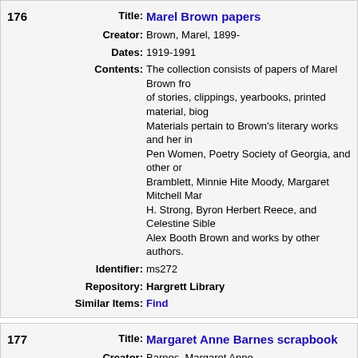| 176 | Title: | Marel Brown papers |
|  | Creator: | Brown, Marel, 1899- |
|  | Dates: | 1919-1991 |
|  | Contents: | The collection consists of papers of Marel Brown from of stories, clippings, yearbooks, printed material, biog Materials pertain to Brown's literary works and her in Pen Women, Poetry Society of Georgia, and other or Bramblett, Minnie Hite Moody, Margaret Mitchell Mar H. Strong, Byron Herbert Reece, and Celestine Sible Alex Booth Brown and works by other authors. |
|  | Identifier: | ms272 |
|  | Repository: | Hargrett Library |
|  | Similar Items: | Find |
| 177 | Title: | Margaret Anne Barnes scrapbook |
|  | Creator: | Barnes, Margaret Anne |
|  | Dates: | 1927-1981 |
|  | Contents: | Collection contains items from Margaret Anne Barnes scrapbook from her time at the University of Georgia and invitations, souvenirs from Belgium, and a 1946 |
|  | Identifier: | ms3972 |
|  | Repository: | Hargrett Library |
|  | Similar Items: | Find |